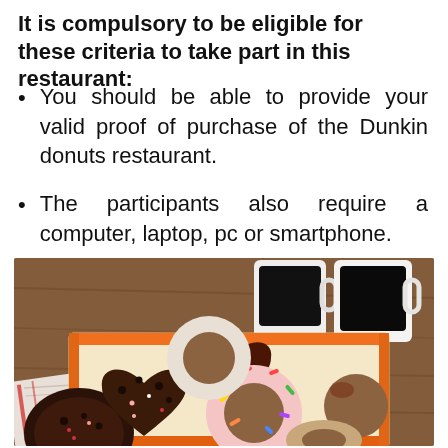It is compulsory to be eligible for these criteria to take part in this restaurant:
You should be able to provide your valid proof of purchase of the Dunkin donuts restaurant.
The participants also require a computer, laptop, pc or smartphone.
[Figure (photo): A box of assorted Dunkin Donuts donuts including heart-shaped and round donuts with various glazes and sprinkles, alongside two white mugs of black coffee on a wooden table.]